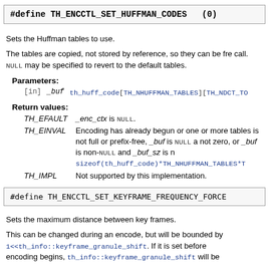#define TH_ENCCTL_SET_HUFFMAN_CODES (0)
Sets the Huffman tables to use.
The tables are copied, not stored by reference, so they can be freed after this call. NULL may be specified to revert to the default tables.
Parameters:
[in] _buf th_huff_code[TH_NHUFFMAN_TABLES][TH_NDCT_TOK...
Return values:
TH_EFAULT _enc_ctx is NULL.
TH_EINVAL Encoding has already begun or one or more tables is not full or prefix-free, _buf is NULL and ... not zero, or _buf is non-NULL and _buf_sz is not sizeof(th_huff_code)*TH_NHUFFMAN_TABLES*T...
TH_IMPL Not supported by this implementation.
#define TH_ENCCTL_SET_KEYFRAME_FREQUENCY_FORCE...
Sets the maximum distance between key frames.
This can be changed during an encode, but will be bounded by 1<<th_info::keyframe_granule_shift. If it is set before encoding begins, th_info::keyframe_granule_shift will be...